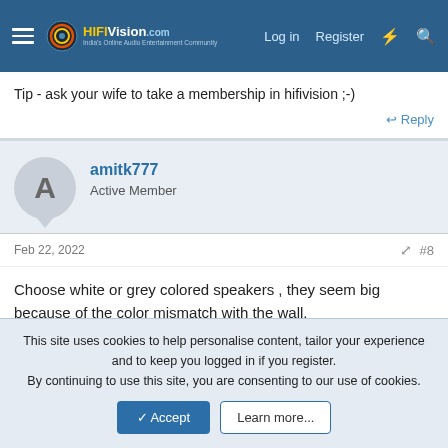HiFiVision.com — Log in  Register
Tip - ask your wife to take a membership in hifivision ;-)
Reply
amitk777
Active Member
Feb 22, 2022   #8
Choose white or grey colored speakers , they seem big because of the color mismatch with the wall.
Reply
This site uses cookies to help personalise content, tailor your experience and to keep you logged in if you register.
By continuing to use this site, you are consenting to our use of cookies.